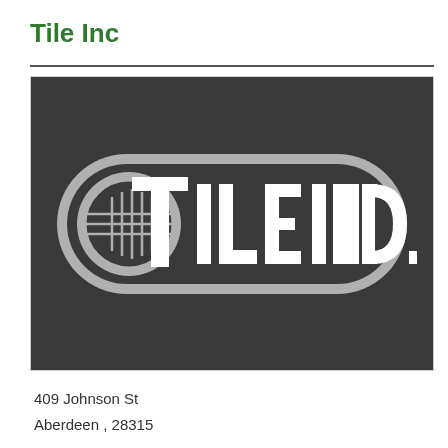Tile Inc
[Figure (logo): Tile Inc. company logo on dark grey background. A rounded rectangle pill shape in silver/grey contains the text 'TILE INC.' in bold white letters, with a grid/tile icon on the left side forming part of the letter C.]
409 Johnson St
Aberdeen , 28315